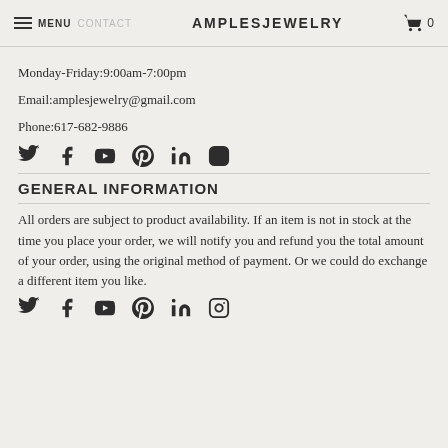MENU CONTACT AMPLESJEWELRY 0
Monday-Friday:9:00am-7:00pm
Email:amplesjewelry@gmail.com
Phone:617-682-9886
[Figure (other): Social media icons row: Twitter, Facebook, YouTube, Pinterest, LinkedIn, Instagram]
GENERAL INFORMATION
All orders are subject to product availability. If an item is not in stock at the time you place your order, we will notify you and refund you the total amount of your order, using the original method of payment. Or we could do exchange a different item you like.
[Figure (other): Social media icons row: Twitter, Facebook, YouTube, Pinterest, LinkedIn, Instagram]